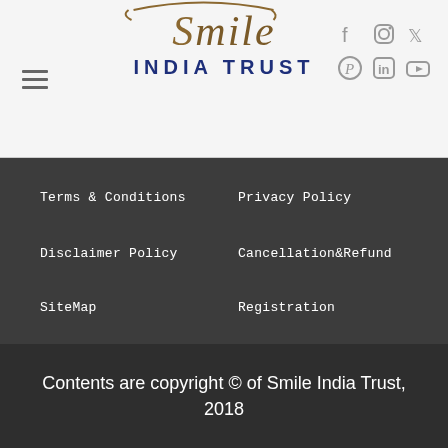[Figure (logo): Smile India Trust logo with stylized cursive 'Smile' text in brown/tan and 'INDIA TRUST' in bold navy blue below]
Terms & Conditions
Privacy Policy
Disclaimer Policy
Cancellation& Refund
SiteMap
Registration
Contents are copyright © of Smile India Trust, 2018